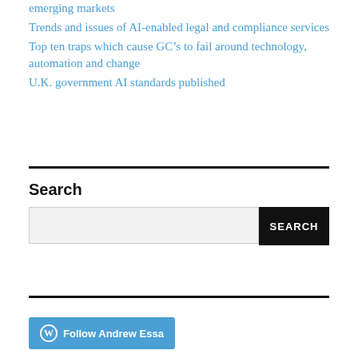emerging markets
Trends and issues of AI-enabled legal and compliance services
Top ten traps which cause GC's to fail around technology, automation and change
U.K. government AI standards published
Search
[Figure (other): Follow Andrew Essa button with WordPress icon]
Follow Andrew Essa